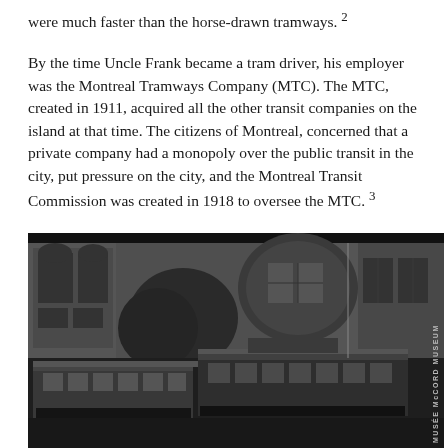were much faster than the horse-drawn tramways. 2
By the time Uncle Frank became a tram driver, his employer was the Montreal Tramways Company (MTC). The MTC, created in 1911, acquired all the other transit companies on the island at that time. The citizens of Montreal, concerned that a private company had a monopoly over the public transit in the city, put pressure on the city, and the Montreal Transit Commission was created in 1918 to oversee the MTC. 3
[Figure (photo): Black and white historical photograph showing early electric tramway cars on a city street in Montreal, with large stone/brick commercial buildings in the background. Multiple trams are visible with passengers. A 'Musée McCord Museum' watermark appears vertically on the right side.]